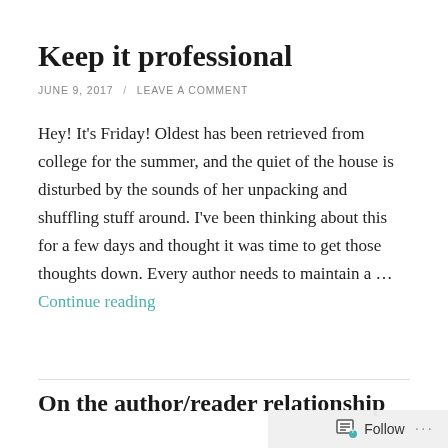Keep it professional
JUNE 9, 2017 / LEAVE A COMMENT
Hey! It's Friday! Oldest has been retrieved from college for the summer, and the quiet of the house is disturbed by the sounds of her unpacking and shuffling stuff around. I've been thinking about this for a few days and thought it was time to get those thoughts down. Every author needs to maintain a … Continue reading
On the author/reader relationship